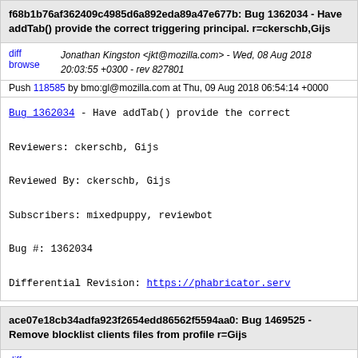f68b1b76af362409c4985d6a892eda89a47e677b: Bug 1362034 - Have addTab() provide the correct triggering principal. r=ckerschb,Gijs
diff browse   Jonathan Kingston <jkt@mozilla.com> - Wed, 08 Aug 2018 20:03:55 +0300 - rev 827801
Push 118585 by bmo:gl@mozilla.com at Thu, 09 Aug 2018 06:54:14 +0000
Bug_1362034 - Have addTab() provide the correct

Reviewers: ckerschb, Gijs

Reviewed By: ckerschb, Gijs

Subscribers: mixedpuppy, reviewbot

Bug #: 1362034

Differential Revision: https://phabricator.serv
ace07e18cb34adfa923f2654edd86562f5594aa0: Bug 1469525 - Remove blocklist clients files from profile r=Gijs
diff browse   Mathieu Leplatre <mathieu@mozilla.com> - Mon, 06 Aug 2018 17:34:28 +0200 - rev 827264
Push 118502 by bmo:mstriemer@mozilla.com at Tue, 07 Aug 2018 16:39:48 +0000
Bug_1469525 - Remove blocklist clients files fr

MozReview-Commit-ID: Fm5Peqz5LcU